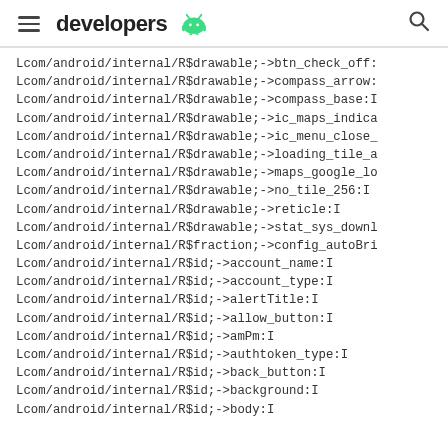developers
Lcom/android/internal/R$drawable;->btn_check_off:
Lcom/android/internal/R$drawable;->compass_arrow:
Lcom/android/internal/R$drawable;->compass_base:I
Lcom/android/internal/R$drawable;->ic_maps_indica
Lcom/android/internal/R$drawable;->ic_menu_close_
Lcom/android/internal/R$drawable;->loading_tile_a
Lcom/android/internal/R$drawable;->maps_google_lo
Lcom/android/internal/R$drawable;->no_tile_256:I
Lcom/android/internal/R$drawable;->reticle:I
Lcom/android/internal/R$drawable;->stat_sys_downl
Lcom/android/internal/R$fraction;->config_autoBri
Lcom/android/internal/R$id;->account_name:I
Lcom/android/internal/R$id;->account_type:I
Lcom/android/internal/R$id;->alertTitle:I
Lcom/android/internal/R$id;->allow_button:I
Lcom/android/internal/R$id;->amPm:I
Lcom/android/internal/R$id;->authtoken_type:I
Lcom/android/internal/R$id;->back_button:I
Lcom/android/internal/R$id;->background:I
Lcom/android/internal/R$id;->body:I